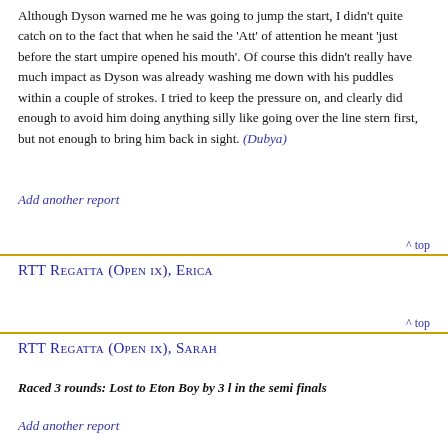Although Dyson warned me he was going to jump the start, I didn't quite catch on to the fact that when he said the 'Att' of attention he meant 'just before the start umpire opened his mouth'. Of course this didn't really have much impact as Dyson was already washing me down with his puddles within a couple of strokes. I tried to keep the pressure on, and clearly did enough to avoid him doing anything silly like going over the line stern first, but not enough to bring him back in sight. (Dubya)
Add another report
^ top
RTT Regatta (Open ix), Erica
^ top
RTT Regatta (Open ix), Sarah
Raced 3 rounds: Lost to Eton Boy by 3 l in the semi finals
Add another report